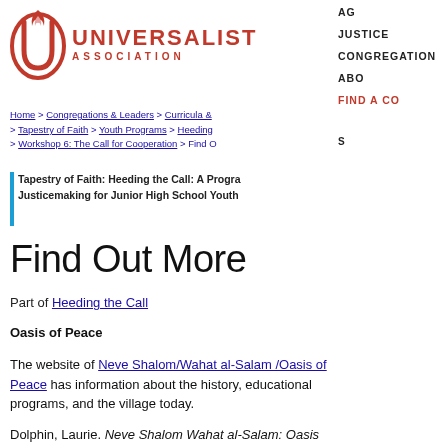[Figure (logo): Unitarian Universalist Association logo with red flame chalice icon and red UNIVERSALIST ASSOCIATION text]
AG... JUSTICE CONGREGATION... ABO... FIND A CO...
Home > Congregations & Leaders > Curricula & > Tapestry of Faith > Youth Programs > Heeding > Workshop 6: The Call for Cooperation > Find O
Tapestry of Faith: Heeding the Call: A Progra... Justicemaking for Junior High School Youth
Find Out More
Part of Heeding the Call
Oasis of Peace
The website of Neve Shalom/Wahat al-Salam /Oasis of Peace has information about the history, educational programs, and the village today.
Dolphin, Laurie. Neve Shalom Wahat al-Salam: Oasis of